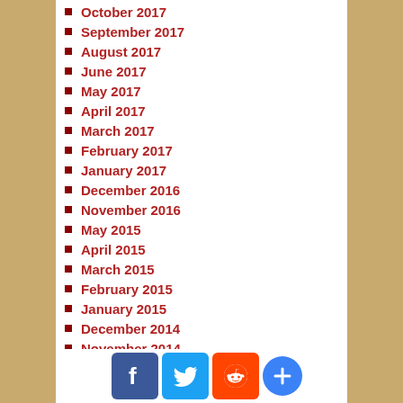October 2017
September 2017
August 2017
June 2017
May 2017
April 2017
March 2017
February 2017
January 2017
December 2016
November 2016
May 2015
April 2015
March 2015
February 2015
January 2015
December 2014
November 2014
October 2014
September 2014
August 2014
July 2014